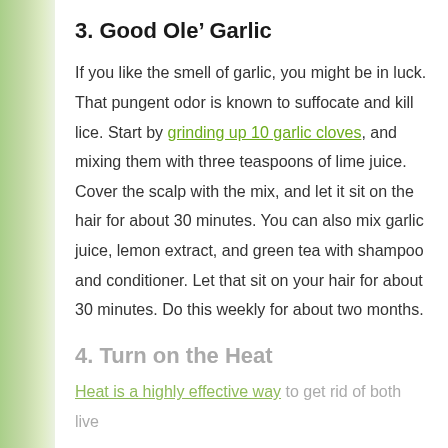3. Good Ole’ Garlic
If you like the smell of garlic, you might be in luck. That pungent odor is known to suffocate and kill lice. Start by grinding up 10 garlic cloves, and mixing them with three teaspoons of lime juice. Cover the scalp with the mix, and let it sit on the hair for about 30 minutes. You can also mix garlic juice, lemon extract, and green tea with shampoo and conditioner. Let that sit on your hair for about 30 minutes. Do this weekly for about two months.
4. Turn on the Heat
Heat is a highly effective way to get rid of both live